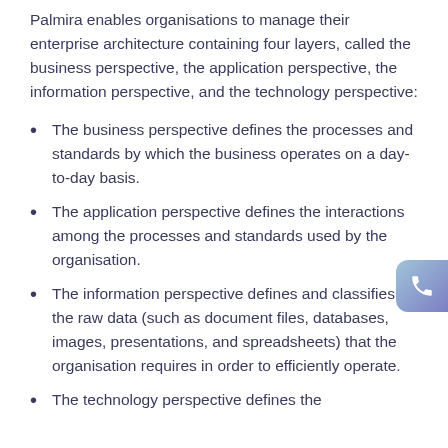Palmira enables organisations to manage their enterprise architecture containing four layers, called the business perspective, the application perspective, the information perspective, and the technology perspective:
The business perspective defines the processes and standards by which the business operates on a day-to-day basis.
The application perspective defines the interactions among the processes and standards used by the organisation.
The information perspective defines and classifies the raw data (such as document files, databases, images, presentations, and spreadsheets) that the organisation requires in order to efficiently operate.
The technology perspective defines the